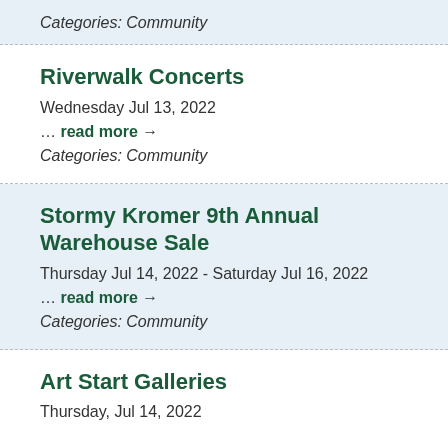Categories: Community
Riverwalk Concerts
Wednesday Jul 13, 2022
… read more →
Categories: Community
Stormy Kromer 9th Annual Warehouse Sale
Thursday Jul 14, 2022 - Saturday Jul 16, 2022
… read more →
Categories: Community
Art Start Galleries
Thursday, Jul 14, 2022